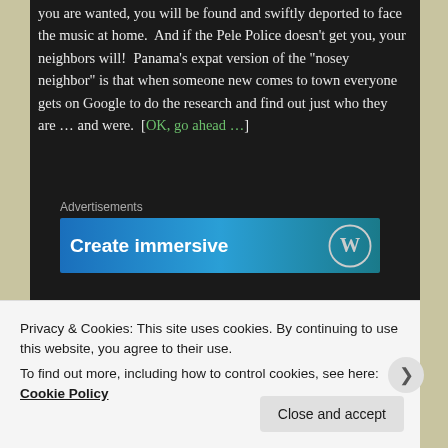you are wanted, you will be found and swiftly deported to face the music at home.  And if the Pele Police doesn't get you, your neighbors will!  Panama's expat version of the "nosey neighbor" is that when someone new comes to town everyone gets on Google to do the research and find out just who they are … and were.  [OK, go ahead …]
[Figure (other): Advertisement banner showing 'Create immersive' text with WordPress logo on a blue gradient background]
Next time I'll share a little with you about our experience with safety in Panama.
Privacy & Cookies: This site uses cookies. By continuing to use this website, you agree to their use.
To find out more, including how to control cookies, see here: Cookie Policy